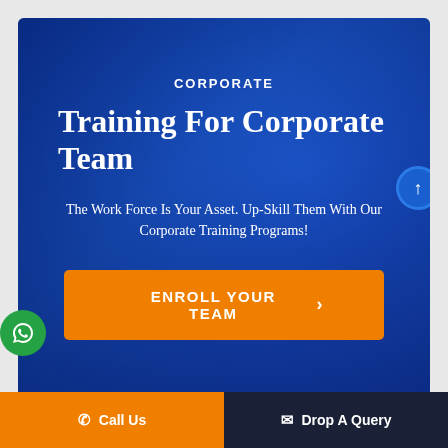[Figure (screenshot): Blue gradient banner for corporate training. Contains label 'CORPORATE', large title 'Training For Corporate Team' with up-arrow button, subtitle text, orange enrollment button, and green WhatsApp floating button.]
Training For Corporate Team
CORPORATE
The Work Force Is Your Asset. Up-Skill Them With Our Corporate Training Programs!
ENROLL YOUR TEAM >
Call Us | Drop A Query